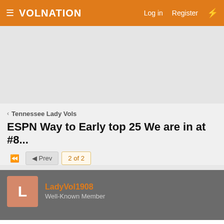VolNation — Log in   Register
[Figure (other): Gray advertisement banner area]
< Tennessee Lady Vols
ESPN Way to Early top 25 We are in at #8...
◄◄  ◄ Prev  2 of 2
LadyVol1908
Well-Known Member
Apr 4, 2022   #26
Rickster said: ↑
Her and Jackson. Maybe one more?